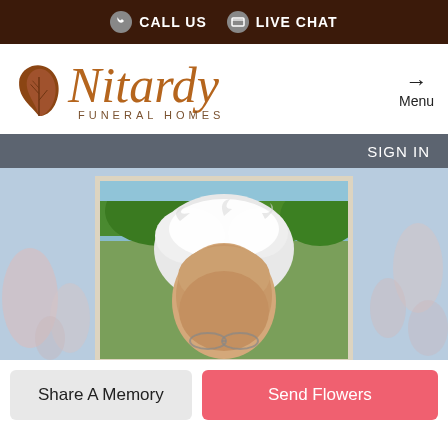CALL US  LIVE CHAT
[Figure (logo): Nitardy Funeral Homes logo with leaf icon and italic script text]
Menu
SIGN IN
[Figure (photo): Portrait photo of an elderly woman with white hair, outdoors with green grass and blue sky background]
Share A Memory
Send Flowers